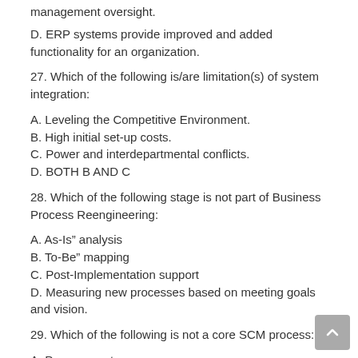management oversight.
D. ERP systems provide improved and added functionality for an organization.
27. Which of the following is/are limitation(s) of system integration:
A. Leveling the Competitive Environment.
B. High initial set-up costs.
C. Power and interdepartmental conflicts.
D. BOTH B AND C
28. Which of the following stage is not part of Business Process Reengineering:
A. As-Is” analysis
B. To-Be” mapping
C. Post-Implementation support
D. Measuring new processes based on meeting goals and vision.
29. Which of the following is not a core SCM process:
A. Procurement